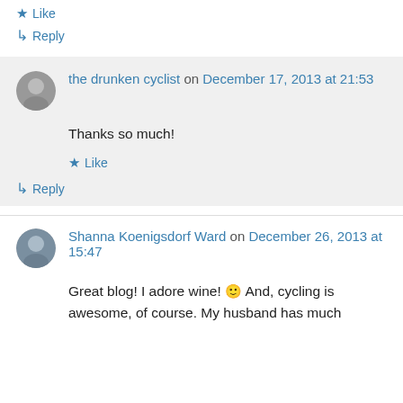★ Like
↳ Reply
the drunken cyclist on December 17, 2013 at 21:53
Thanks so much!
★ Like
↳ Reply
Shanna Koenigsdorf Ward on December 26, 2013 at 15:47
Great blog! I adore wine! 🙂 And, cycling is awesome, of course. My husband has much